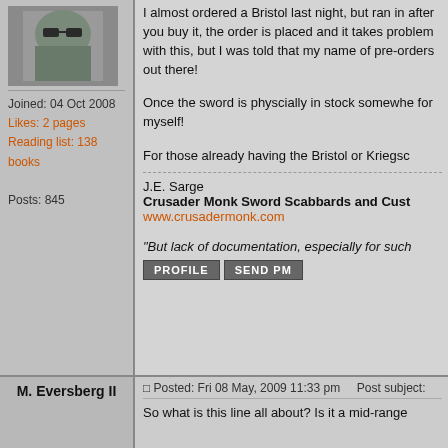[Figure (photo): Profile photo of a person wearing military/camouflage gear and sunglasses]
Joined: 04 Oct 2008
Likes: 2 pages
Reading list: 138 books

Posts: 845
I almost ordered a Bristol last night, but ran in... after you buy it, the order is placed and it takes... problem with this, but I was told that my name... of pre-orders out there!

Once the sword is physcially in stock somewhe... for myself!

For those already having the Bristol or Kriegsc...
J.E. Sarge
Crusader Monk Sword Scabbards and Cust...
www.crusadermonk.com

"But lack of documentation, especially for such...
PROFILE   SEND PM
M. Eversberg II
Posted: Fri 08 May, 2009 11:33 pm    Post subject:
[Figure (photo): Profile photo showing a golden/bronze medieval helmet]
Location: California, Maryland, USA
Joined: 07 Sep 2006
Reading list: 3 books
So what is this line all about? Is it a mid-range...

M.

This space for rent or lease.